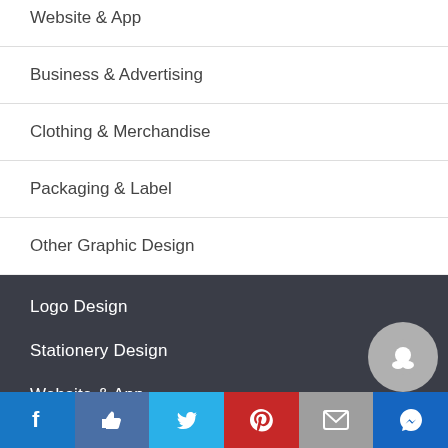Website & App
Business & Advertising
Clothing & Merchandise
Packaging & Label
Other Graphic Design
Logo Design
Stationery Design
Website & App
Business & Advertising
Clothing & Merchandise